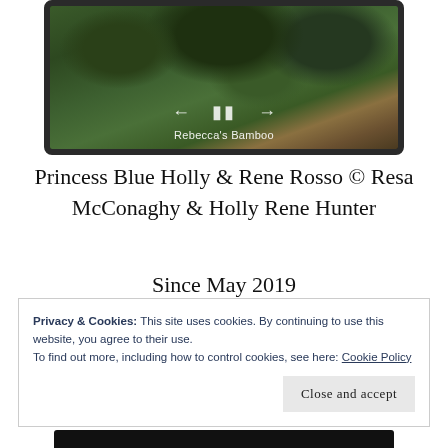[Figure (screenshot): Video player screenshot showing bamboo/trees with playback controls (back arrow, pause, forward arrow) and caption 'Rebecca's Bamboo']
Princess Blue Holly & Rene Rosso © Resa McConaghy & Holly Rene Hunter
Since May 2019
Privacy & Cookies: This site uses cookies. By continuing to use this website, you agree to their use.
To find out more, including how to control cookies, see here: Cookie Policy